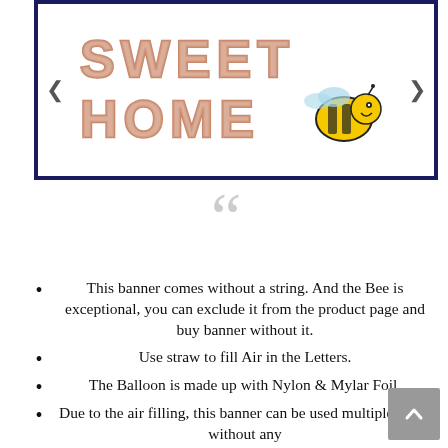[Figure (photo): Product image showing balloon letters spelling SWEET HOME in rose gold/pink, with a bumble bee balloon, on white background with dark navy border. Navigation arrows on left and right.]
This banner comes without a string. And the Bee is exceptional, you can exclude it from the product page and buy banner without it.
Use straw to fill Air in the Letters.
The Balloon is made up with Nylon & Mylar Foil.
Due to the air filling, this banner can be used multiple times without any